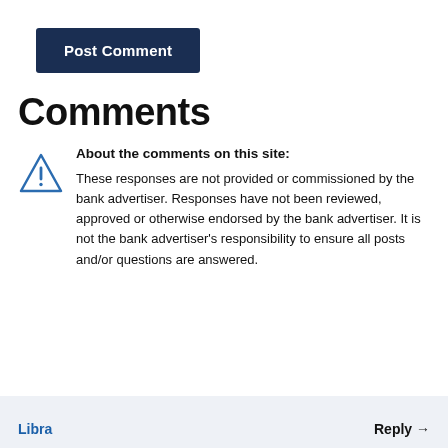Post Comment
Comments
About the comments on this site: These responses are not provided or commissioned by the bank advertiser. Responses have not been reviewed, approved or otherwise endorsed by the bank advertiser. It is not the bank advertiser's responsibility to ensure all posts and/or questions are answered.
Libra   Reply →